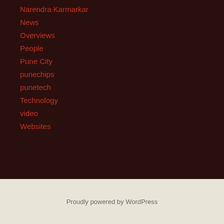Narendra Karmarkar
News
Overviews
People
Pune City
punechips
punetech
Technology
video
Websites
Proudly powered by WordPress